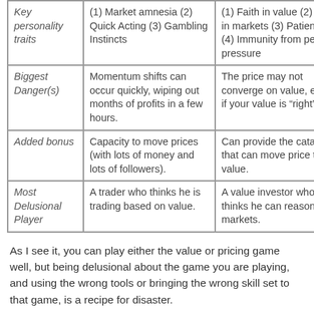| Key personality traits | (1) Market amnesia (2) Quick Acting (3) Gambling Instincts | (1) Faith in value (2) Faith in markets (3) Patience (4) Immunity from peer pressure |
| Biggest Danger(s) | Momentum shifts can occur quickly, wiping out months of profits in a few hours. | The price may not converge on value, even if your value is “right”. |
| Added bonus | Capacity to move prices (with lots of money and lots of followers). | Can provide the catalyst that can move price to value. |
| Most Delusional Player | A trader who thinks he is trading based on value. | A value investor who thinks he can reason with markets. |
As I see it, you can play either the value or pricing game well, but being delusional about the game you are playing, and using the wrong tools or bringing the wrong skill set to that game, is a recipe for disaster.